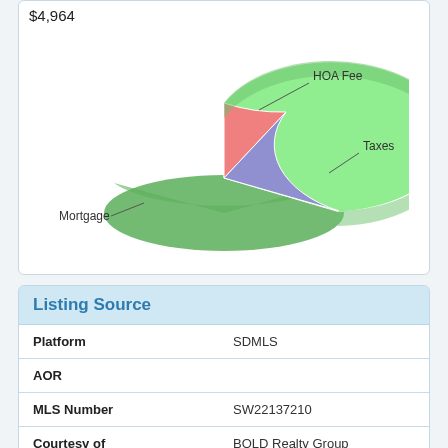$4,964
[Figure (pie-chart): Monthly Payment Breakdown]
Listing Source
| Field | Value |
| --- | --- |
| Platform | SDMLS |
| AOR |  |
| MLS Number | SW22137210 |
| Courtesy of | BOLD Realty Group |